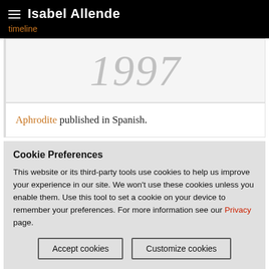Isabel Allende
timeline
1997
Aphrodite published in Spanish.
Cookie Preferences
This website or its third-party tools use cookies to help us improve your experience in our site. We won't use these cookies unless you enable them. Use this tool to set a cookie on your device to remember your preferences. For more information see our Privacy page.
Accept cookies
Customize cookies